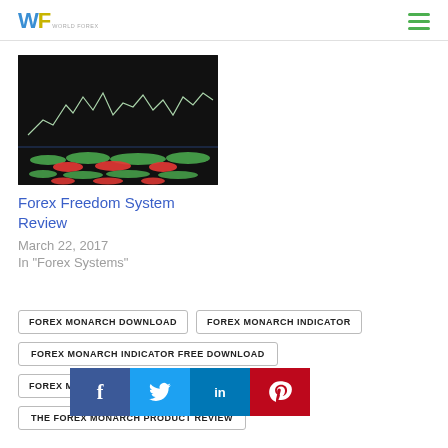WF [logo] | hamburger menu
[Figure (screenshot): Forex trading chart screenshot showing candlestick/line chart with green and red indicator bars below on dark background]
Forex Freedom System Review
March 22, 2017
In "Forex Systems"
FOREX MONARCH DOWNLOAD
FOREX MONARCH INDICATOR
FOREX MONARCH INDICATOR FREE DOWNLOAD
FOREX MONARCH [partial] ARCH
THE FOREX MONARCH PRODUCT REVIEW
[Figure (infographic): Social share bar with Facebook, Twitter, LinkedIn, Pinterest icons]